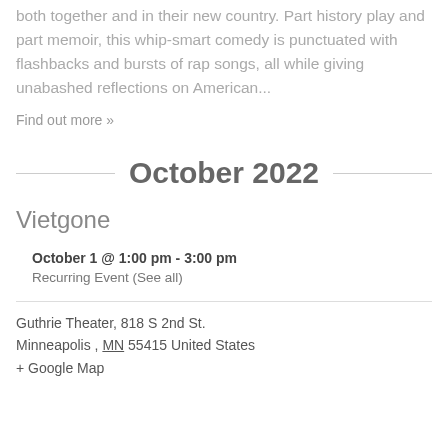both together and in their new country. Part history play and part memoir, this whip-smart comedy is punctuated with flashbacks and bursts of rap songs, all while giving unabashed reflections on American...
Find out more »
October 2022
Vietgone
October 1 @ 1:00 pm - 3:00 pm
Recurring Event (See all)
Guthrie Theater, 818 S 2nd St. Minneapolis , MN 55415 United States + Google Map